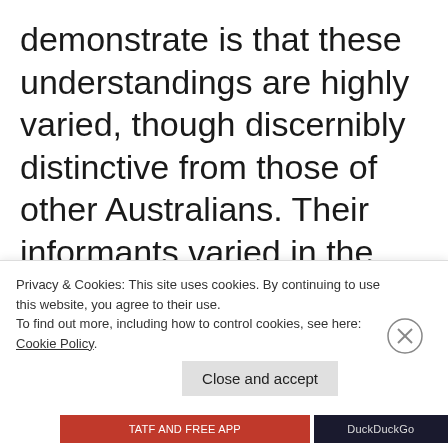demonstrate is that these understandings are highly varied, though discernibly distinctive from those of other Australians. Their informants varied in the extent to which they regarded the commonly identified Aboriginal Australian 'religions' as religions.
Privacy & Cookies: This site uses cookies. By continuing to use this website, you agree to their use. To find out more, including how to control cookies, see here: Cookie Policy
Close and accept